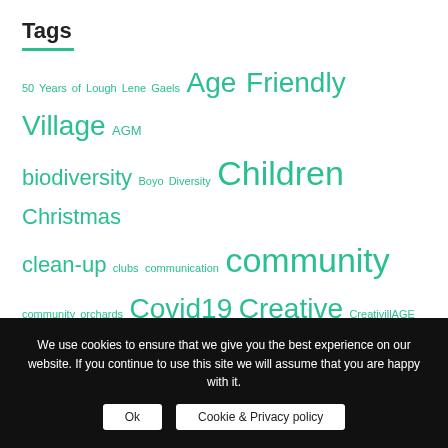Tags
50 Years of Lough Lene Gaels Age Friendly Village AGM biodiversity Boyo Diversity Children Christmas clean-up clubs communication community community orchards Covid19 Creative CreativillAGE Eclectic Festival Family Farmers Market fitness Fun Fundraising GAA Healthy Club health Heritage Little Free Library Lough Lene Mental health Nature One Small Change OsKaRs Parish Newsletter PLACE plants Playground Reuse run Safety Social Dancing Sport St. Patrick's Day Support Local Sustainability tidy towns trees volunteers
We use cookies to ensure that we give you the best experience on our website. If you continue to use this site we will assume that you are happy with it.